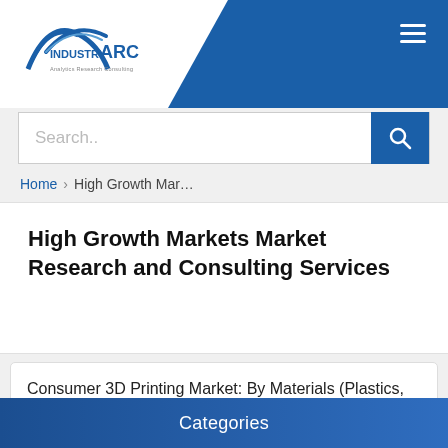IndustryARC - Analytics Research Consulting
Search..
Home > High Growth Mar...
High Growth Markets Market Research and Consulting Services
Consumer 3D Printing Market: By Materials (Plastics, Metals, Ceramics, Composites, Others); By Technology (Fuse Deposition Modeling, Selective Laser Sintering, Stereo Lithography, Others); By Form (Filament, Powder & Liquid); By Application (Jewelry, Art, Home
Categories